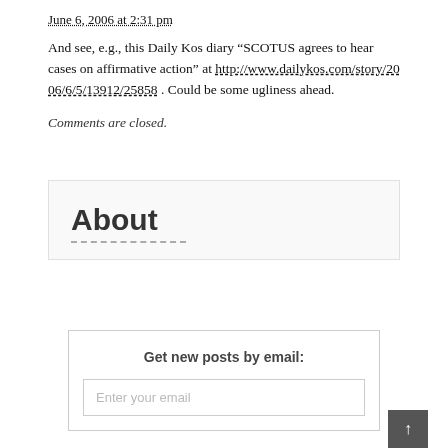June 6, 2006 at 2:31 pm
And see, e.g., this Daily Kos diary “SCOTUS agrees to hear cases on affirmative action” at http://www.dailykos.com/story/2006/6/5/13912/25858 . Could be some ugliness ahead.
Comments are closed.
About
Get new posts by email:
Enter your email